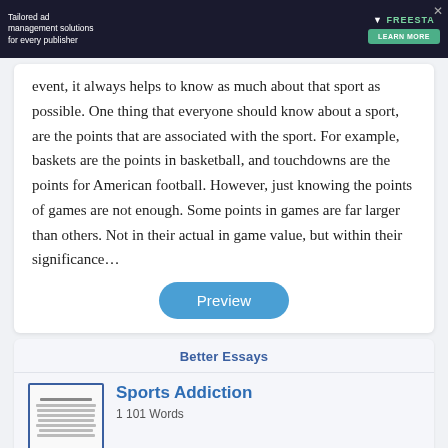[Figure (screenshot): Advertisement banner for Freestar tailored ad management solutions for every publisher with a Learn More button]
event, it always helps to know as much about that sport as possible. One thing that everyone should know about a sport, are the points that are associated with the sport. For example, baskets are the points in basketball, and touchdowns are the points for American football. However, just knowing the points of games are not enough. Some points in games are far larger than others. Not in their actual in game value, but within their significance…
Preview
Better Essays
Sports Addiction